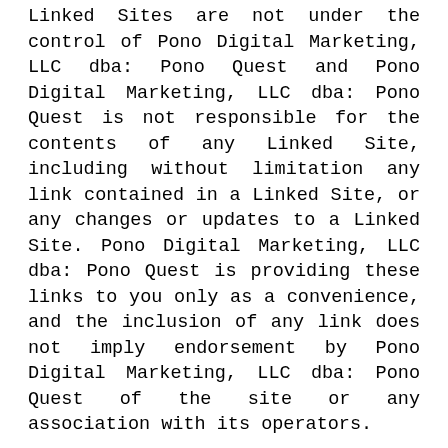Linked Sites are not under the control of Pono Digital Marketing, LLC dba: Pono Quest and Pono Digital Marketing, LLC dba: Pono Quest is not responsible for the contents of any Linked Site, including without limitation any link contained in a Linked Site, or any changes or updates to a Linked Site. Pono Digital Marketing, LLC dba: Pono Quest is providing these links to you only as a convenience, and the inclusion of any link does not imply endorsement by Pono Digital Marketing, LLC dba: Pono Quest of the site or any association with its operators.
Certain services made available via www.ponoquest.com / academy.ponotribe.com are delivered by third party sites and organizations. By using any product, service or functionality originating from the www.ponoquest.com / academy.ponotribe.com domain, you hereby